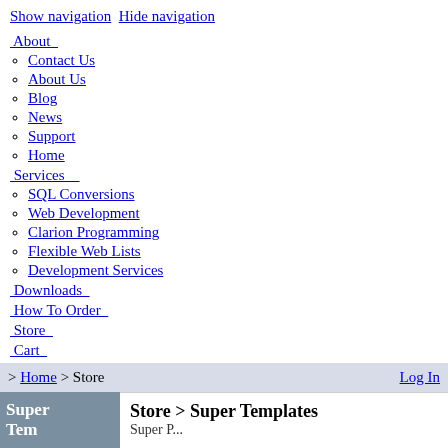Show navigation  Hide navigation
About
Contact Us
About Us
Blog
News
Support
Home
Services
SQL Conversions
Web Development
Clarion Programming
Flexible Web Lists
Development Services
Downloads
How To Order
Store
Cart
My Account
> Home > Store   Log In
Store > Super Templates
Super Templates